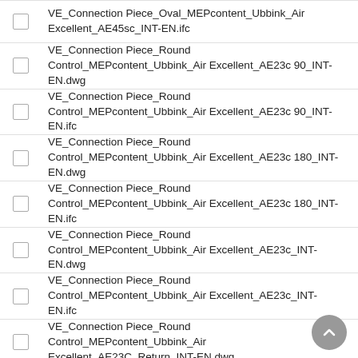VE_Connection Piece_Oval_MEPcontent_Ubbink_Air Excellent_AE45sc_INT-EN.ifc
VE_Connection Piece_Round Control_MEPcontent_Ubbink_Air Excellent_AE23c 90_INT-EN.dwg
VE_Connection Piece_Round Control_MEPcontent_Ubbink_Air Excellent_AE23c 90_INT-EN.ifc
VE_Connection Piece_Round Control_MEPcontent_Ubbink_Air Excellent_AE23c 180_INT-EN.dwg
VE_Connection Piece_Round Control_MEPcontent_Ubbink_Air Excellent_AE23c 180_INT-EN.ifc
VE_Connection Piece_Round Control_MEPcontent_Ubbink_Air Excellent_AE23c_INT-EN.dwg
VE_Connection Piece_Round Control_MEPcontent_Ubbink_Air Excellent_AE23c_INT-EN.ifc
VE_Connection Piece_Round Control_MEPcontent_Ubbink_Air Excellent_AE23C_Return_INT-EN.dwg